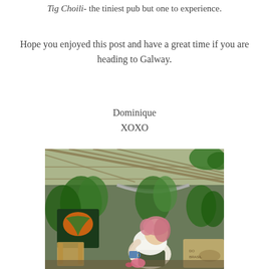Tig Choili- the tiniest pub but one to experience.
Hope you enjoyed this post and have a great time if you are heading to Galway.
Dominique
XOXO
[Figure (photo): Woman with pink hair sitting in a lush indoor garden space with tropical plants, a hammock, bamboo furniture, and a glass roof. She is holding a blue mug and looking contemplative. The space appears to be a bohemian cafe or pub interior.]